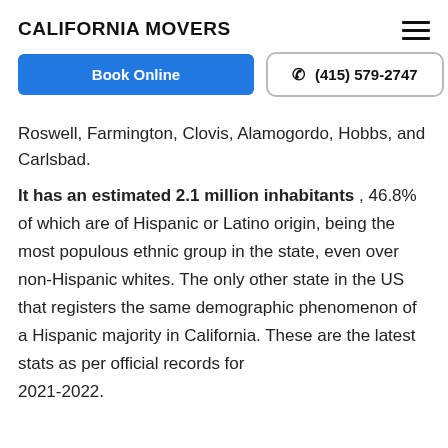CALIFORNIA MOVERS
Book Online
(415) 579-2747
Roswell, Farmington, Clovis, Alamogordo, Hobbs, and Carlsbad.
It has an estimated 2.1 million inhabitants , 46.8% of which are of Hispanic or Latino origin, being the most populous ethnic group in the state, even over non-Hispanic whites. The only other state in the US that registers the same demographic phenomenon of a Hispanic majority in California. These are the latest stats as per official records for 2021-2022.